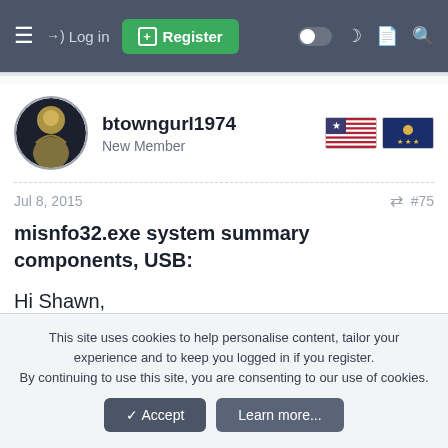Log in | Register
btowngurl1974
New Member
Jul 8, 2015   #75
misnfo32.exe system summary components, USB:
Hi Shawn,
I am obviously still learning about the software and
This site uses cookies to help personalise content, tailor your experience and to keep you logged in if you register.
By continuing to use this site, you are consenting to our use of cookies.